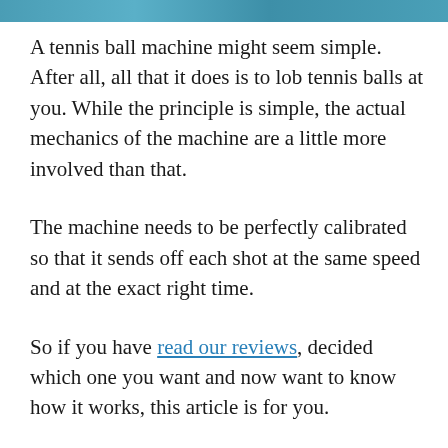[Figure (photo): Decorative teal/blue header bar image at the top of the page]
A tennis ball machine might seem simple. After all, all that it does is to lob tennis balls at you. While the principle is simple, the actual mechanics of the machine are a little more involved than that.
The machine needs to be perfectly calibrated so that it sends off each shot at the same speed and at the exact right time.
So if you have read our reviews, decided which one you want and now want to know how it works, this article is for you.